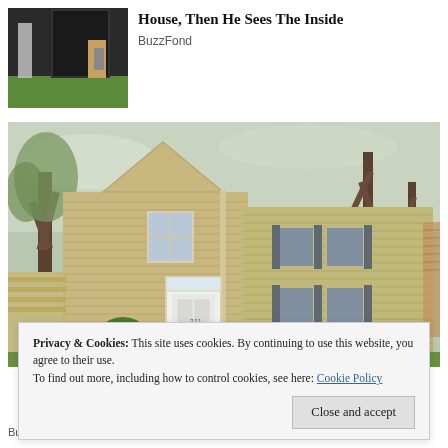[Figure (photo): Thumbnail image of a dark structure or tent in a backyard with a ladder on the left and a person standing in the doorway, with green grass visible.]
House, Then He Sees The Inside
BuzzFond
[Figure (photo): Exterior photo of a two-story colonial-style house with beige horizontal siding, blue shutters, a white front door, evergreen shrubs, and bare trees in the foreground on a cloudy spring day.]
Privacy & Cookies: This site uses cookies. By continuing to use this website, you agree to their use.
To find out more, including how to control cookies, see here: Cookie Policy
Close and accept
BuzzFond